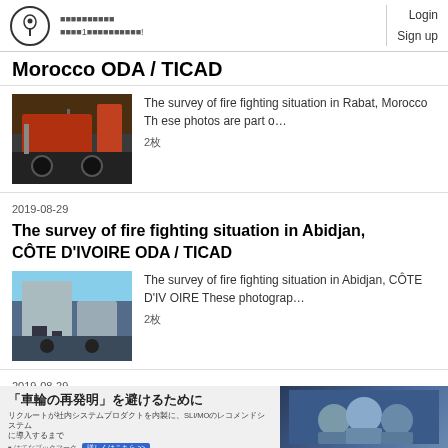Login Sign up
Morocco ODA / TICAD
[Figure (photo): Fire truck in Rabat, Morocco]
The survey of fire fighting situation in Rabat, Morocco These photos are part o…
2枚
2019-08-29
The survey of fire fighting situation in Abidjan, CÔTE D'IVOIRE ODA / TICAD
[Figure (photo): Fire station in Abidjan, Côte d'Ivoire]
The survey of fire fighting situation in Abidjan, CÔTE D'IVOIRE These photograp…
2枚
2019-08-29
The survey of fire fighting situation in Mo...
[Figure (screenshot): Advertisement banner: 「車輪の再発明」を避けるために]